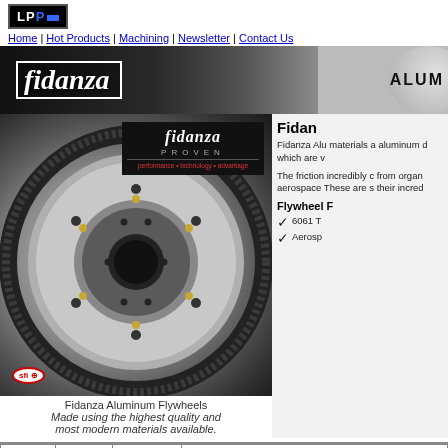[Figure (logo): LPP logo in black box with blue accent]
Home | Hot Products | Machining | Newsletter | Contact Us
[Figure (photo): Fidanza aluminum flywheel banner with logo and ALUMI text]
[Figure (photo): Close-up photo of Fidanza aluminum flywheel with SFI badge and Fidanza Proven badge]
Fidanza Aluminum Flywheels
Made using the highest quality and most modern materials available.
Fidanza Aluminum flywheel uses the highest quality materials and most modern manufacturing processes. The aluminum dramatically reduces weight compared to OEM which are very important for performance applications.
The friction surface of these flywheels are made from an incredibly durable material that offers a great improvement from organic or ceramic materials. Made from aircraft and aerospace grade aluminum, these flywheels are very tough. These are some of the reasons that Fidanza is known for their incredible Aluminum Flywheels.
Flywheel Features:
6061 T
Aerospace
| Ford | Year | Engine | Description |
| --- | --- | --- | --- |
| Capri | 86 | 5.0L | 157 RG Includes 28.5 & 50 oz. Weight |